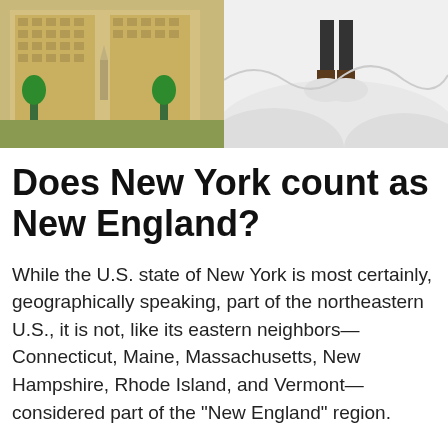[Figure (photo): Left half: photo of a large government or civic building with monument/statue in front, trees, urban setting. Right half: photo of a person standing in deep snow wearing boots and dark pants.]
Does New York count as New England?
While the U.S. state of New York is most certainly, geographically speaking, part of the northeastern U.S., it is not, like its eastern neighbors—Connecticut, Maine, Massachusetts, New Hampshire, Rhode Island, and Vermont—considered part of the “New England” region.
Are the Catskills considered upstate?